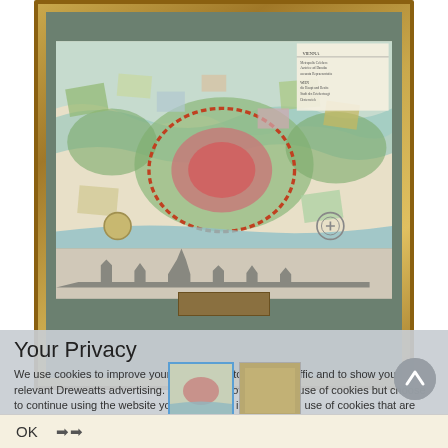[Figure (map): Antique framed map of Vienna (Wien) showing the city plan with fortifications, surrounding areas, colored districts, and a panoramic cityscape view at the bottom. Gold ornate frame with dark green mat.]
Your Privacy
We use cookies to improve your experience, to analyse traffic and to show you relevant Dreweatts advertising. Should you not accept the use of cookies but choose to continue using the website your consent is implied to the use of cookies that are used for data analytical purposes. More Information.
OK ➤➤